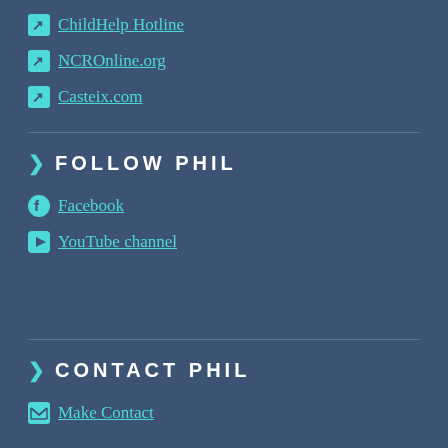ChildHelp Hotline
NCROnline.org
Casteix.com
FOLLOW PHIL
Facebook
YouTube channel
CONTACT PHIL
Make Contact